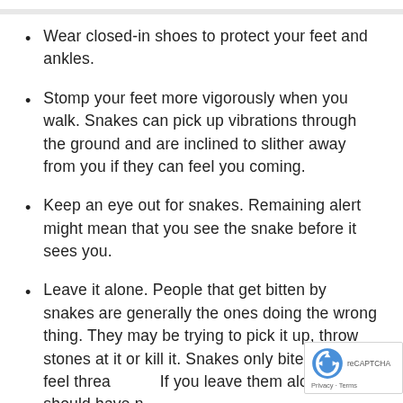Wear closed-in shoes to protect your feet and ankles.
Stomp your feet more vigorously when you walk. Snakes can pick up vibrations through the ground and are inclined to slither away from you if they can feel you coming.
Keep an eye out for snakes. Remaining alert might mean that you see the snake before it sees you.
Leave it alone. People that get bitten by snakes are generally the ones doing the wrong thing. They may be trying to pick it up, throw stones at it or kill it. Snakes only bite if they feel threatened. If you leave them alone, you should have no problems.